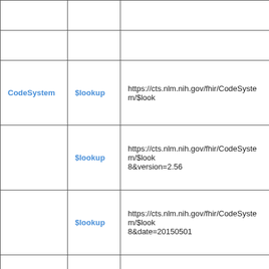| Resource | Operation | URL |
| --- | --- | --- |
|  |  |  |
|  |  |  |
| CodeSystem | $lookup | https://cts.nlm.nih.gov/fhir/CodeSystem/$look... |
|  | $lookup | https://cts.nlm.nih.gov/fhir/CodeSystem/$look...8&version=2.56 |
|  | $lookup | https://cts.nlm.nih.gov/fhir/CodeSystem/$look...8&date=20150501 |
|  |  |  |